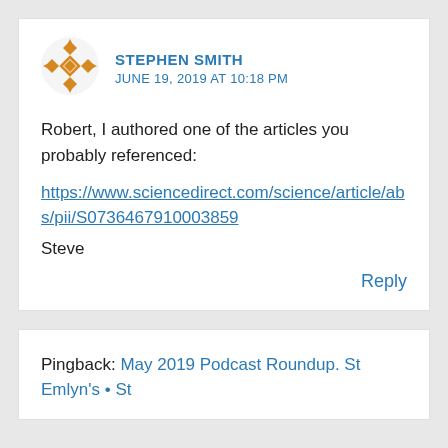[Figure (illustration): Orange/brown geometric avatar icon for Stephen Smith]
STEPHEN SMITH
JUNE 19, 2019 AT 10:18 PM
Robert, I authored one of the articles you probably referenced:
https://www.sciencedirect.com/science/article/abs/pii/S0736467910003859
Steve
Reply
Pingback: May 2019 Podcast Roundup. St Emlyn's • St